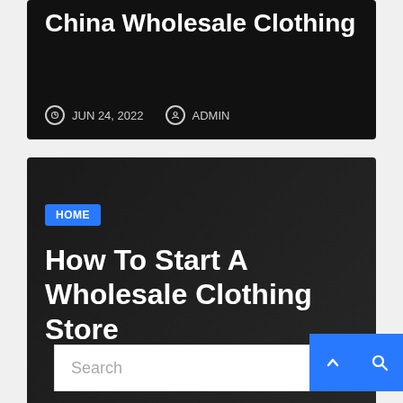China Wholesale Clothing
JUN 24, 2022  ADMIN
[Figure (screenshot): Dark card with HOME badge and article title 'How To Start A Wholesale Clothing Store' with date JUN 23, 2022 and ADMIN]
Search